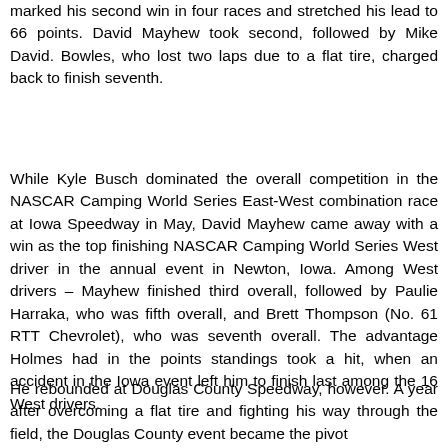marked his second win in four races and stretched his lead to 66 points. David Mayhew took second, followed by Mike David. Bowles, who lost two laps due to a flat tire, charged back to finish seventh.
While Kyle Busch dominated the overall competition in the NASCAR Camping World Series East-West combination race at Iowa Speedway in May, David Mayhew came away with a win as the top finishing NASCAR Camping World Series West driver in the annual event in Newton, Iowa. Among West drivers – Mayhew finished third overall, followed by Paulie Harraka, who was fifth overall, and Brett Thompson (No. 61 RTT Chevrolet), who was seventh overall. The advantage Holmes had in the points standings took a hit, when an accident in the Iowa event left him to finish last among the 16 West drivers.
He rebounded at Douglas County Speedway, however. A year after overcoming a flat tire and fighting his way through the field, the Douglas County event became the pivot...